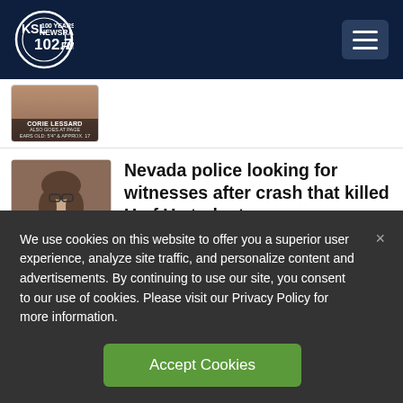KSL NewsRadio 102.7FM
[Figure (photo): Partial news thumbnail showing CORIE LESSARD with text labels below image]
[Figure (photo): Photo of a young woman with long hair and glasses against a brick wall background]
Nevada police looking for witnesses after crash that killed U of U student
[Figure (photo): Partially visible thumbnail for next news article]
We use cookies on this website to offer you a superior user experience, analyze site traffic, and personalize content and advertisements. By continuing to use our site, you consent to our use of cookies. Please visit our Privacy Policy for more information.
Accept Cookies